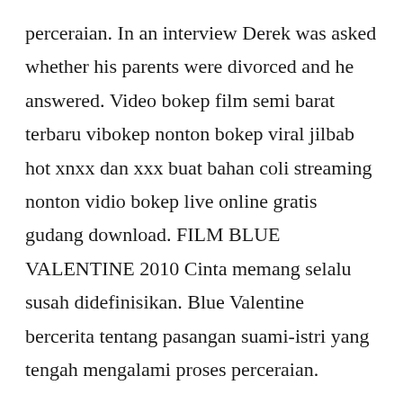perceraian. In an interview Derek was asked whether his parents were divorced and he answered. Video bokep film semi barat terbaru vibokep nonton bokep viral jilbab hot xnxx dan xxx buat bahan coli streaming nonton vidio bokep live online gratis gudang download. FILM BLUE VALENTINE 2010 Cinta memang selalu susah didefinisikan. Blue Valentine bercerita tentang pasangan suami-istri yang tengah mengalami proses perceraian.